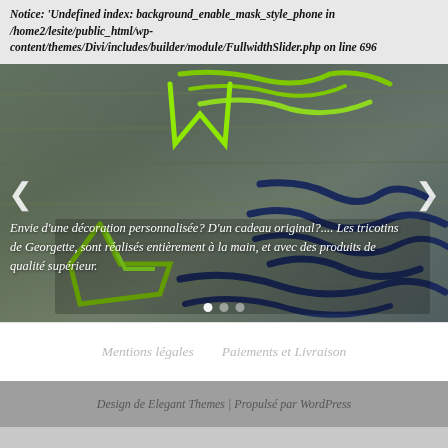Notice: 'Undefined index: background_enable_mask_style_phone in /home2/lesite/public_html/wp-content/themes/Divi/includes/builder/module/FullwidthSlider.php on line 696
[Figure (photo): A slider/carousel image showing yarn letters spelling 'Marc Andrew' on a wooden surface, with an italic white text overlay reading 'Envie d'une décoration personnalisée? D'un cadeau original?.... Les tricotins de Georgette, sont réalisés entièrement à la main, et avec des produits de qualité supérieur.' Navigation arrows and dots are visible.]
Mentions légales    Paiements et Livraison
Design de Elegant Themes | Propulsé par WordPress